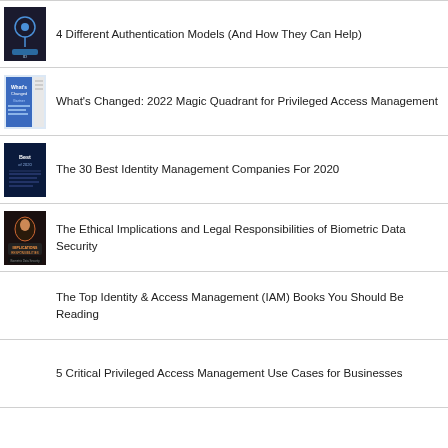4 Different Authentication Models (And How They Can Help)
What's Changed: 2022 Magic Quadrant for Privileged Access Management
The 30 Best Identity Management Companies For 2020
The Ethical Implications and Legal Responsibilities of Biometric Data Security
The Top Identity & Access Management (IAM) Books You Should Be Reading
5 Critical Privileged Access Management Use Cases for Businesses